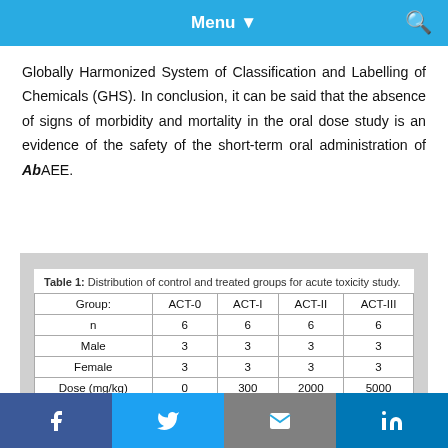Menu
Globally Harmonized System of Classification and Labelling of Chemicals (GHS). In conclusion, it can be said that the absence of signs of morbidity and mortality in the oral dose study is an evidence of the safety of the short-term oral administration of AbAEE.
Table 1: Distribution of control and treated groups for acute toxicity study.
| Group: | ACT-0 | ACT-I | ACT-II | ACT-III |
| --- | --- | --- | --- | --- |
| n | 6 | 6 | 6 | 6 |
| Male | 3 | 3 | 3 | 3 |
| Female | 3 | 3 | 3 | 3 |
| Dose (mg/kg) | 0 | 300 | 2000 | 5000 |
Table 3: Acute toxicity (2000 mg/kg).
f  Twitter  Email  in